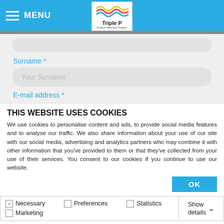MENU
[Figure (logo): Triple P Positive Parenting Program logo with colorful wave lines]
Surname *
Your Surname
E-mail address *
THIS WEBSITE USES COOKIES
We use cookies to personalise content and ads, to provide social media features and to analyse our traffic. We also share information about your use of our site with our social media, advertising and analytics partners who may combine it with other information that you've provided to them or that they've collected from your use of their services. You consent to our cookies if you continue to use our website.
OK
Necessary  Preferences  Statistics  Marketing  Show details